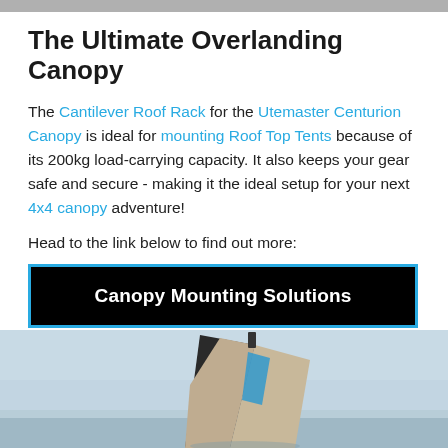The Ultimate Overlanding Canopy
The Cantilever Roof Rack for the Utemaster Centurion Canopy is ideal for mounting Roof Top Tents because of its 200kg load-carrying capacity. It also keeps your gear safe and secure - making it the ideal setup for your next 4x4 canopy adventure!
Head to the link below to find out more:
Canopy Mounting Solutions
[Figure (photo): Photograph of a roof top tent mounted on a canopy, shown open/upright against a grey sky background]